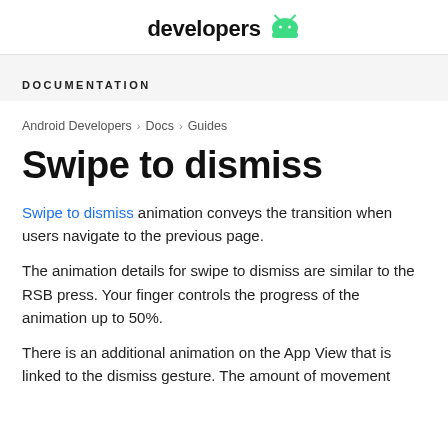developers
DOCUMENTATION
Android Developers > Docs > Guides
Swipe to dismiss
Swipe to dismiss animation conveys the transition when users navigate to the previous page.
The animation details for swipe to dismiss are similar to the RSB press. Your finger controls the progress of the animation up to 50%.
There is an additional animation on the App View that is linked to the dismiss gesture. The amount of movement